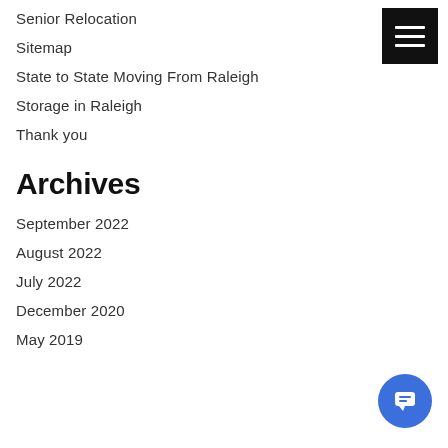Senior Relocation
Sitemap
State to State Moving From Raleigh
Storage in Raleigh
Thank you
Archives
September 2022
August 2022
July 2022
December 2020
May 2019